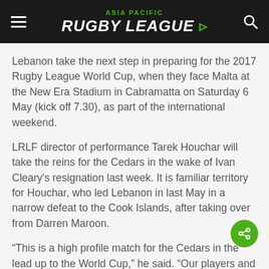ASIA PACIFIC RUGBY LEAGUE
Lebanon take the next step in preparing for the 2017 Rugby League World Cup, when they face Malta at the New Era Stadium in Cabramatta on Saturday 6 May (kick off 7.30), as part of the international weekend.
LRLF director of performance Tarek Houchar will take the reins for the Cedars in the wake of Ivan Cleary's resignation last week. It is familiar territory for Houchar, who led Lebanon in last May in a narrow defeat to the Cook Islands, after taking over from Darren Maroon.
“This is a high profile match for the Cedars in the lead up to the World Cup,” he said. “Our players and staff understand the significance and are driven, passionate and committed to